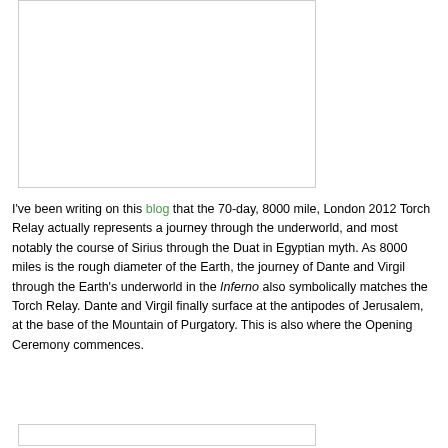[Figure (other): White rectangular image placeholder with thin border, upper portion of page]
I've been writing on this blog that the 70-day, 8000 mile, London 2012 Torch Relay actually represents a journey through the underworld, and most notably the course of Sirius through the Duat in Egyptian myth. As 8000 miles is the rough diameter of the Earth, the journey of Dante and Virgil through the Earth's underworld in the Inferno also symbolically matches the Torch Relay. Dante and Virgil finally surface at the antipodes of Jerusalem, at the base of the Mountain of Purgatory. This is also where the Opening Ceremony commences.
[Figure (other): White rectangular image placeholder with thin border, bottom of page (partially visible)]